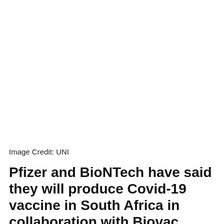[Figure (photo): Large image area (white/blank) at top of page — photograph placeholder]
Image Credit: UNI
Pfizer and BioNTech have said they will produce Covid-19 vaccine in South Africa in collaboration with Biovac Institute in Cape Town, in a move that